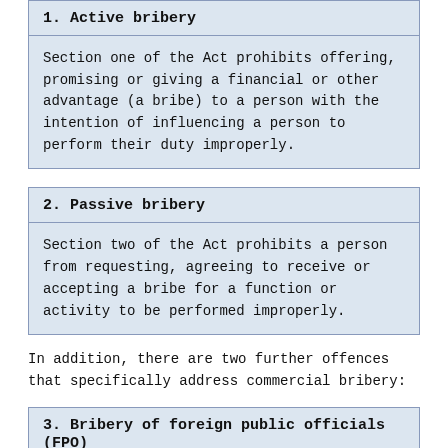1. Active bribery
Section one of the Act prohibits offering, promising or giving a financial or other advantage (a bribe) to a person with the intention of influencing a person to perform their duty improperly.
2. Passive bribery
Section two of the Act prohibits a person from requesting, agreeing to receive or accepting a bribe for a function or activity to be performed improperly.
In addition, there are two further offences that specifically address commercial bribery:
3. Bribery of foreign public officials (FPO)
Section six of the Act prohibits bribery of an FPO with